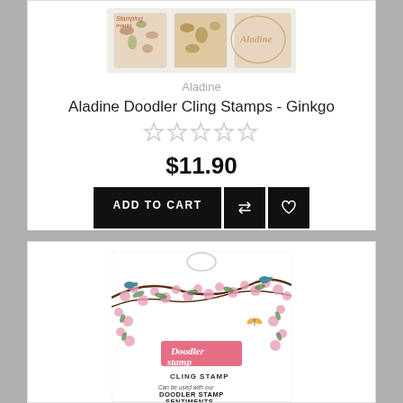[Figure (photo): Product image of Aladine Doodler Cling Stamps Ginkgo packaging showing stamp sheets]
Aladine
Aladine Doodler Cling Stamps - Ginkgo
[Figure (other): Five empty star rating icons]
$11.90
ADD TO CART
[Figure (photo): Product image of Aladine Doodler Cling Stamp with cherry blossom floral design packaging showing 'Doodler Stamp, CLING STAMP, Can be used with our DOODLER STAMP SENTIMENTS']